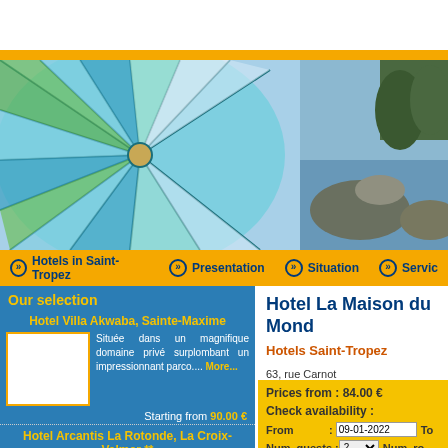[Figure (photo): Beach umbrella with colorful blue, green, teal pattern on left side; rocky coastline with water on right side]
Hotels in Saint-Tropez | Presentation | Situation | Services
Our selection
Hotel Villa Akwaba, Sainte-Maxime
Située dans un magnifique domaine privé surplombant un impressionnant parco.... More...
Starting from 90.00 €
Hotel Arcantis La Rotonde, La Croix-Valmer **
Hotel Arcantis La Rotonde is a modern and colourful property, recently reno... More...
Hotel La Maison du Monde
Hotels Saint-Tropez
63, rue Carnot
83310 Saint-Tropez
Prices from : 84.00 €
Check availability :
From : 09-01-2022 To
Num. guests : 2 Num. ro